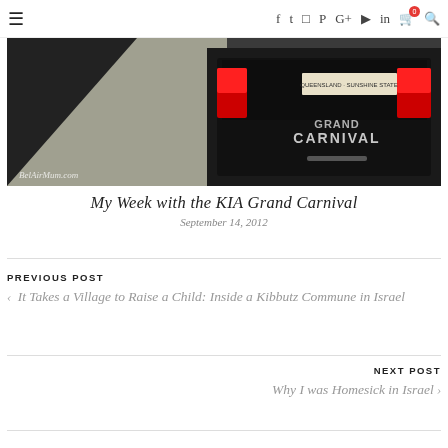≡ f t ✦ P G+ ▶ in 🛒0 🔍
[Figure (photo): Rear view of a dark KIA Grand Carnival minivan in a parking lot, with Queensland Sunshine State license plate visible. Watermark reads BelAirMum.com]
My Week with the KIA Grand Carnival
September 14, 2012
PREVIOUS POST
< It Takes a Village to Raise a Child: Inside a Kibbutz Commune in Israel
NEXT POST
Why I was Homesick in Israel >